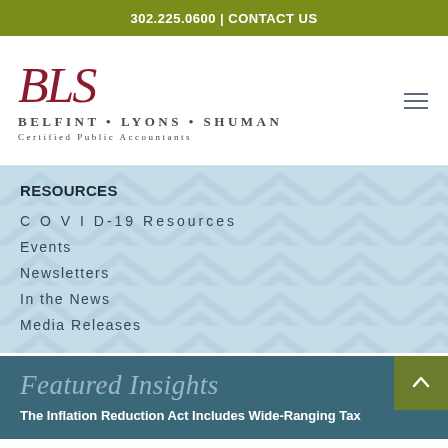302.225.0600 | CONTACT US
[Figure (logo): BLS - Belfint Lyons Shuman Certified Public Accountants logo with script BLS in red and firm name in dark gray]
RESOURCES
C O V I D-19 Resources
Events
Newsletters
In the News
Media Releases
Featured Insights
The Inflation Reduction Act Includes Wide-Ranging Tax